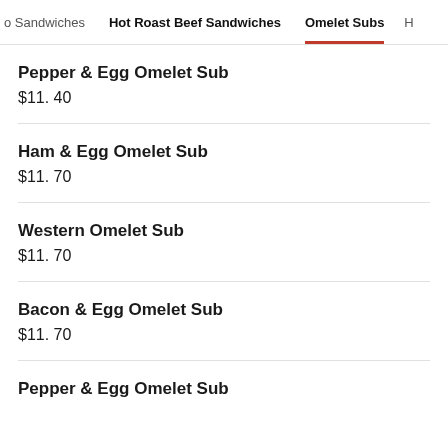Sandwiches | Hot Roast Beef Sandwiches | Omelet Subs | H
Pepper & Egg Omelet Sub
$11.40
Ham & Egg Omelet Sub
$11.70
Western Omelet Sub
$11.70
Bacon & Egg Omelet Sub
$11.70
Pepper & Egg Omelet Sub (partial)